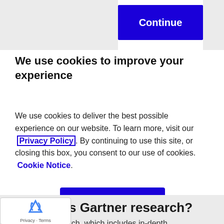Continue
We use cookies to improve your experience
We use cookies to deliver the best possible experience on our website. To learn more, visit our  Privacy Policy. By continuing to use this site, or closing this box, you consent to our use of cookies.  Cookie Notice.
Accept
What is Gartner research?
rtner research, which includes in-depth